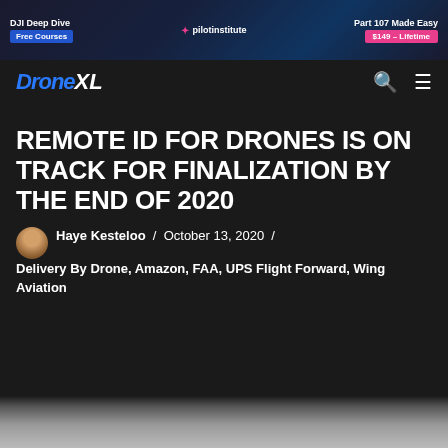[Figure (screenshot): Pilot Institute banner advertisement with DJI Deep Dive free courses on left, pilotinstitute.com logo in center, Part 107 Made Easy $149 Lifetime on right]
DroneXL
REMOTE ID FOR DRONES IS ON TRACK FOR FINALIZATION BY THE END OF 2020
Haye Kesteloo / October 13, 2020 / Delivery By Drone, Amazon, FAA, UPS Flight Forward, Wing Aviation
[Figure (photo): Partial photo at bottom of page, appears to show a drone or related subject]